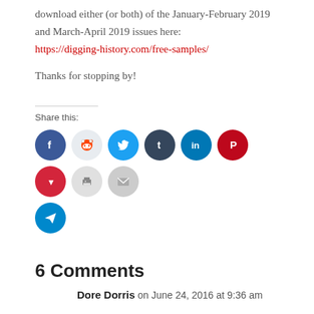download either (or both) of the January-February 2019 and March-April 2019 issues here:
https://digging-history.com/free-samples/
Thanks for stopping by!
[Figure (infographic): Share this: row of circular social media icon buttons: Facebook (blue), Reddit (light gray), Twitter (blue), Tumblr (dark navy), LinkedIn (blue), Pinterest (red), Pocket (red), Print (gray), Email (gray), and Telegram (blue)]
6 Comments
Dore Dorris on June 24, 2016 at 9:36 am